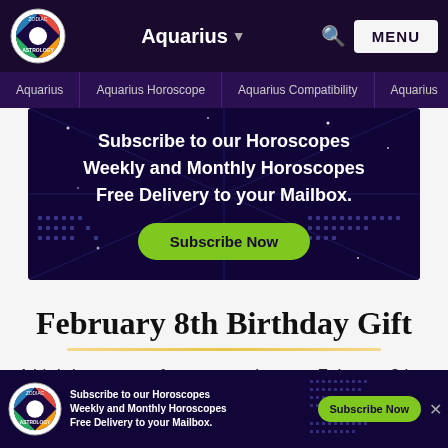Aquarius ▼ | MENU | Aquarius | Aquarius Horoscope | Aquarius Compatibility | Aquarius...
[Figure (screenshot): Dark purple banner ad: 'Subscribe to our Horoscopes Weekly and Monthly Horoscopes Free Delivery to your Mailbox.' with a green 'Subscribe Now' button and dot matrix decorations]
February 8th Birthday Gift
A birthday present for a person born on February 8th is
[Figure (screenshot): Bottom banner ad with astrology zodiac logo: 'Subscribe to our Horoscopes Weekly and Monthly Horoscopes Free Delivery to your Mailbox.' with green 'Subscribe Now' button]